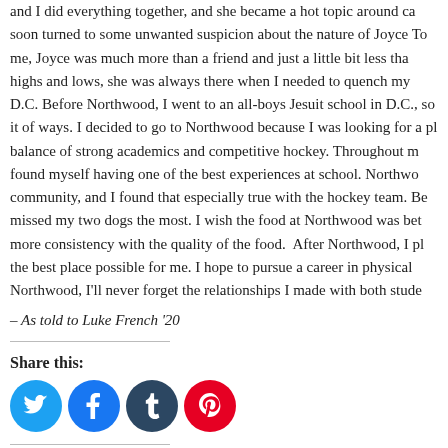and I did everything together, and she became a hot topic around ca... soon turned to some unwanted suspicion about the nature of Joyce... To me, Joyce was much more than a friend and just a little bit less tha... highs and lows, she was always there when I needed to quench my... D.C. Before Northwood, I went to an all-boys Jesuit school in D.C., so it... of ways. I decided to go to Northwood because I was looking for a pl... balance of strong academics and competitive hockey. Throughout m... found myself having one of the best experiences at school. Northwo... community, and I found that especially true with the hockey team. Be... missed my two dogs the most. I wish the food at Northwood was bet... more consistency with the quality of the food. After Northwood, I pla... the best place possible for me. I hope to pursue a career in physical... Northwood, I'll never forget the relationships I made with both stude...
– As told to Luke French '20
Share this:
[Figure (illustration): Four social media sharing icons: Twitter (light blue circle), Facebook (blue circle), Tumblr (dark blue-gray circle), Pinterest (red circle)]
Like this: